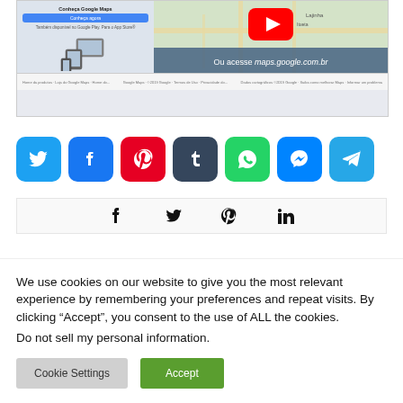[Figure (screenshot): Screenshot of Google Maps webpage with a YouTube video thumbnail and text 'Ou acesse maps.google.com.br' overlaid on a map view. Left side shows a Google ad panel with 'Conheça agora' button and device stack illustration.]
[Figure (infographic): Row of 7 social media sharing icons: Twitter (blue), Facebook (blue), Pinterest (red), Tumblr (dark blue-grey), WhatsApp (green), Messenger (blue), Telegram (light blue)]
[Figure (infographic): Footer social icons bar showing Facebook, Twitter, Pinterest, LinkedIn icons in black]
We use cookies on our website to give you the most relevant experience by remembering your preferences and repeat visits. By clicking “Accept”, you consent to the use of ALL the cookies.
Do not sell my personal information.
Cookie Settings
Accept